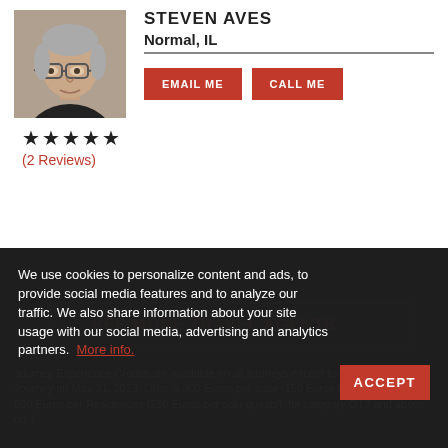[Figure (photo): Headshot photo of a middle-aged man with glasses and short gray hair, wearing a dark shirt]
STEVEN AVES
Normal, IL
EMAIL ME   CALL ME
★★★★★ (2 Reviews)
We use cookies to personalize content and ads, to provide social media features and to analyze our traffic. We also share information about your site usage with our social media, advertising and analytics partners. More info.
ACCEPT
SEE MORE TRAVEL AGENTS
Journey Experience Credits are available on all journeys except for the Maiden Journey on May 31, 2023. Offer is 300 Euros per suite (150 Euros per solo guests) or 500 Euros per Residences (250 Euros per solo guests), for category OT3 and above on 7-